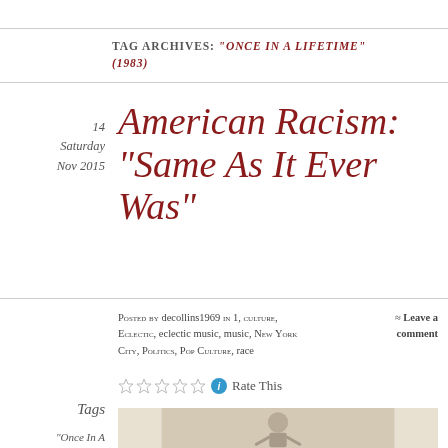TAG ARCHIVES: "ONCE IN A LIFETIME" (1983)
14
Saturday
Nov 2015
American Racism: “Same As It Ever Was”
Posted by decollins1969 in 1, culture, Eclectic, eclectic music, music, New York City, Politics, Pop Culture, race
≈ Leave a comment
Rate This
Tags
“Once In A